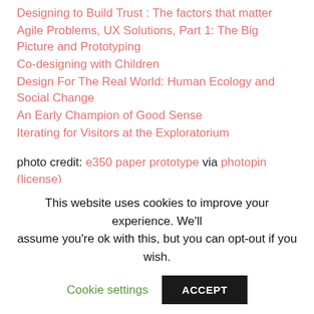Designing to Build Trust : The factors that matter
Agile Problems, UX Solutions, Part 1: The Big Picture and Prototyping
Co-designing with Children
Design For The Real World: Human Ecology and Social Change
An Early Champion of Good Sense
Iterating for Visitors at the Exploratorium
photo credit: e350 paper prototype via photopin (license)
This website uses cookies to improve your experience. We'll assume you're ok with this, but you can opt-out if you wish.
Cookie settings  ACCEPT